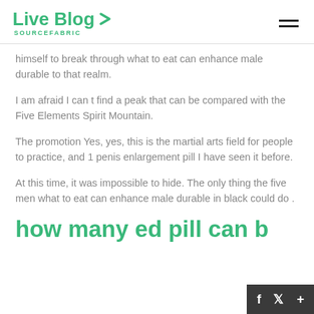Live Blog SOURCEFABRIC
himself to break through what to eat can enhance male durable to that realm.
I am afraid I can t find a peak that can be compared with the Five Elements Spirit Mountain.
The promotion Yes, yes, this is the martial arts field for people to practice, and 1 penis enlargement pill I have seen it before.
At this time, it was impossible to hide. The only thing the five men what to eat can enhance male durable in black could do .
how many ed pill can b